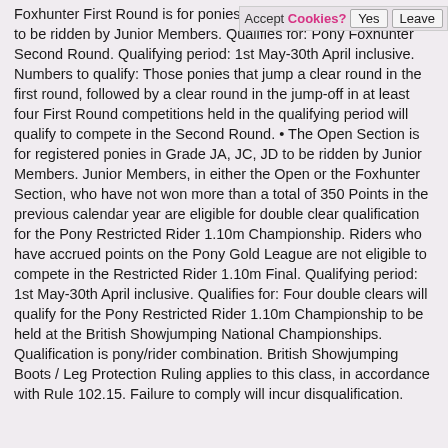Foxhunter First Round is for ponies in ... won a total of 700 Points to be ridden by Junior Members. Qualifies for: Pony Foxhunter Second Round. Qualifying period: 1st May-30th April inclusive. Numbers to qualify: Those ponies that jump a clear round in the first round, followed by a clear round in the jump-off in at least four First Round competitions held in the qualifying period will qualify to compete in the Second Round. • The Open Section is for registered ponies in Grade JA, JC, JD to be ridden by Junior Members. Junior Members, in either the Open or the Foxhunter Section, who have not won more than a total of 350 Points in the previous calendar year are eligible for double clear qualification for the Pony Restricted Rider 1.10m Championship. Riders who have accrued points on the Pony Gold League are not eligible to compete in the Restricted Rider 1.10m Final. Qualifying period: 1st May-30th April inclusive. Qualifies for: Four double clears will qualify for the Pony Restricted Rider 1.10m Championship to be held at the British Showjumping National Championships. Qualification is pony/rider combination. British Showjumping Boots / Leg Protection Ruling applies to this class, in accordance with Rule 102.15. Failure to comply will incur disqualification.